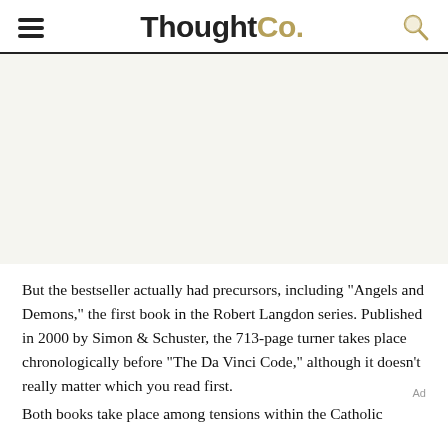ThoughtCo.
But the bestseller actually had precursors, including "Angels and Demons," the first book in the Robert Langdon series. Published in 2000 by Simon & Schuster, the 713-page turner takes place chronologically before "The Da Vinci Code," although it doesn't really matter which you read first.
Both books take place among tensions within the Catholic